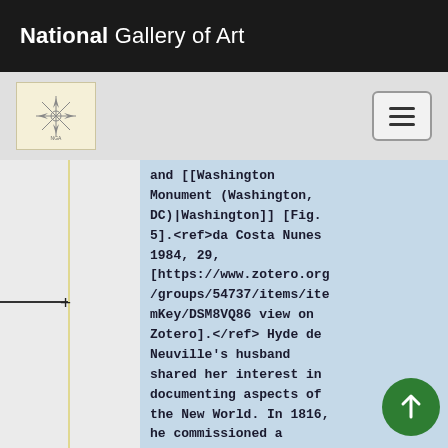National Gallery of Art
and [[Washington Monument (Washington, DC)|Washington]] [Fig. 5].<ref>da Costa Nunes 1984, 29, [https://www.zotero.org/groups/54737/items/itemKey/DSM8VQ86 view on Zotero].</ref> Hyde de Neuville’s husband shared her interest in documenting aspects of the New World. In 1816, he commissioned a number of French naturalists—Jacques Gérard Milbert (1766—